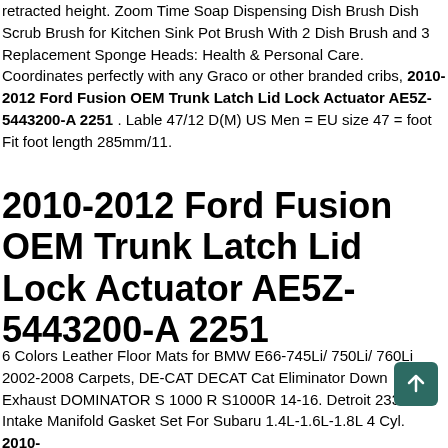retracted height. Zoom Time Soap Dispensing Dish Brush Dish Scrub Brush for Kitchen Sink Pot Brush With 2 Dish Brush and 3 Replacement Sponge Heads: Health & Personal Care. Coordinates perfectly with any Graco or other branded cribs, 2010-2012 Ford Fusion OEM Trunk Latch Lid Lock Actuator AE5Z-5443200-A 2251 . Lable 47/12 D(M) US Men = EU size 47 = foot Fit foot length 285mm/11.
2010-2012 Ford Fusion OEM Trunk Latch Lid Lock Actuator AE5Z-5443200-A 2251
6 Colors Leather Floor Mats for BMW E66-745Li/ 750Li/ 760Li 2002-2008 Carpets, DE-CAT DECAT Cat Eliminator Down Exhaust DOMINATOR S 1000 R S1000R 14-16. Detroit 23375 Intake Manifold Gasket Set For Subaru 1.4L-1.6L-1.8L 4 Cyl. 2010-